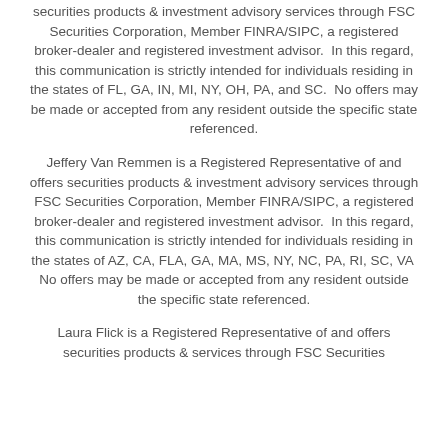securities products & investment advisory services through FSC Securities Corporation, Member FINRA/SIPC, a registered broker-dealer and registered investment advisor.  In this regard, this communication is strictly intended for individuals residing in the states of FL, GA, IN, MI, NY, OH, PA, and SC.  No offers may be made or accepted from any resident outside the specific state referenced.
Jeffery Van Remmen is a Registered Representative of and offers securities products & investment advisory services through FSC Securities Corporation, Member FINRA/SIPC, a registered broker-dealer and registered investment advisor.  In this regard, this communication is strictly intended for individuals residing in the states of AZ, CA, FLA, GA, MA, MS, NY, NC, PA, RI, SC, VA  No offers may be made or accepted from any resident outside the specific state referenced.
Laura Flick is a Registered Representative of and offers securities products & services through FSC Securities